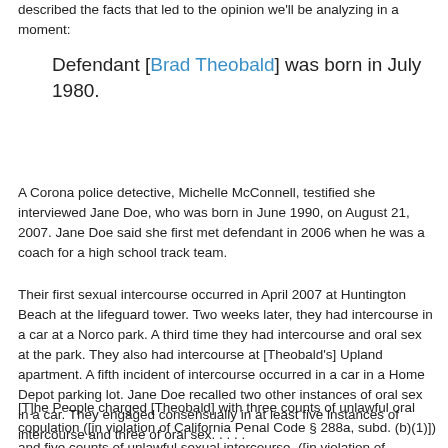described the facts that led to the opinion we'll be analyzing in a moment:
Defendant [Brad Theobald] was born in July 1980.
A Corona police detective, Michelle McConnell, testified she interviewed Jane Doe, who was born in June 1990, on August 21, 2007. Jane Doe said she first met defendant in 2006 when he was a coach for a high school track team.
Their first sexual intercourse occurred in April 2007 at Huntington Beach at the lifeguard tower. Two weeks later, they had intercourse in a car at a Norco park. A third time they had intercourse and oral sex at the park. They also had intercourse at [Theobald's] Upland apartment. A fifth incident of intercourse occurred in a car in a Home Depot parking lot. Jane Doe recalled two other instances of oral sex in a car. They engaged consensually in at least five instances of intercourse and three of oral sex. . . . .
[T]he People charged [Theobald] with three counts of unlawful oral copulation ([in violation of California Penal Code § 288a, subd. (b)(1)]) and five counts of unlawful sexual intercourse. ([in violation of California Penal Code § 261.5, subd. (a)]).